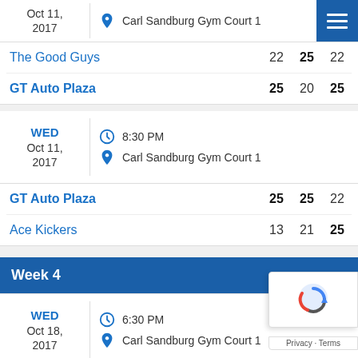| Date/Location | Team | Set 1 | Set 2 | Set 3 |
| --- | --- | --- | --- | --- |
| Oct 11, 2017 / Carl Sandburg Gym Court 1 | The Good Guys | 22 | 25 | 22 |
|  | GT Auto Plaza | 25 | 20 | 25 |
| WED Oct 11, 2017 / 8:30 PM / Carl Sandburg Gym Court 1 | GT Auto Plaza | 25 | 25 | 22 |
|  | Ace Kickers | 13 | 21 | 25 |
Week 4
| Date/Location | Team | Set 1 | Set 2 | Set 3 |
| --- | --- | --- | --- | --- |
| WED Oct 18, 2017 / 6:30 PM / Carl Sandburg Gym Court 1 | Ace Kickers | 26 | 2? |  |
|  | Royal Pub | 24 | 2? |  |